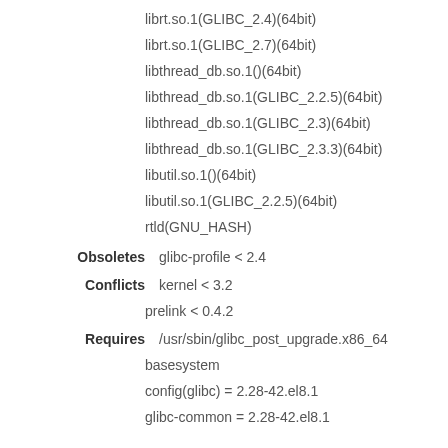librt.so.1(GLIBC_2.4)(64bit)
librt.so.1(GLIBC_2.7)(64bit)
libthread_db.so.1()(64bit)
libthread_db.so.1(GLIBC_2.2.5)(64bit)
libthread_db.so.1(GLIBC_2.3)(64bit)
libthread_db.so.1(GLIBC_2.3.3)(64bit)
libutil.so.1()(64bit)
libutil.so.1(GLIBC_2.2.5)(64bit)
rtld(GNU_HASH)
Obsoletes
glibc-profile < 2.4
Conflicts
kernel < 3.2
prelink < 0.4.2
Requires
/usr/sbin/glibc_post_upgrade.x86_64
basesystem
config(glibc) = 2.28-42.el8.1
glibc-common = 2.28-42.el8.1